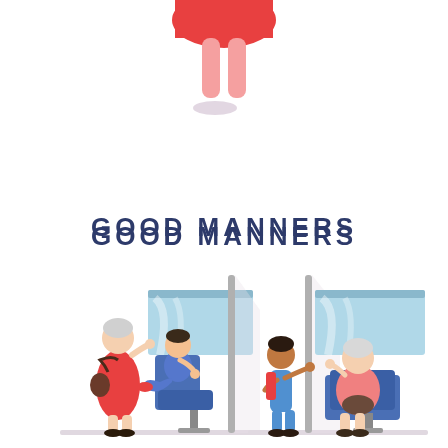[Figure (illustration): Top portion shows cropped lower body of a person in a red dress and pink legs/feet with a small purple shoe shadow. Below, text 'GOOD MANNERS' in bold dark blue spaced letters. Bottom section shows two side-by-side illustrations of bus/train scenes: Left scene shows an elderly woman in red standing holding a pole while a child sits in a bus seat ignoring her (bad manners). Right scene shows a child standing and offering/giving up the seat to the elderly woman who is now seated (good manners). Both scenes feature bus windows with blue tint and seats.]
GOOD MANNERS